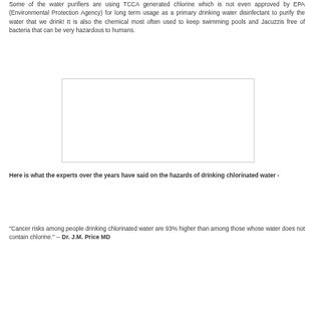Some of the water purifiers are using TCCA generated chlorine which is not even approved by EPA (Environmental Protection Agency) for long term usage as a primary drinking water disinfectant to purify the water that we drink! It is also the chemical most often used to keep swimming pools and Jacuzzis free of bacteria that can be very hazardous to humans.
[Figure (photo): Blank white rectangular image placeholder with light gray border]
Here is what the experts over the years have said on the hazards of drinking chlorinated water -
"Cancer risks among people drinking chlorinated water are 93% higher than among those whose water does not contain chlorine." -- Dr. J.M. Price MD